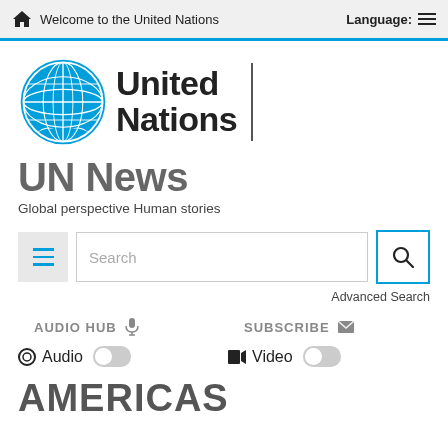Welcome to the United Nations | Language:
[Figure (logo): United Nations logo with blue globe emblem and text 'United Nations']
UN News
Global perspective Human stories
Search | Advanced Search
AUDIO HUB   SUBSCRIBE
Audio  (toggle)   Video  (toggle)
AMERICAS